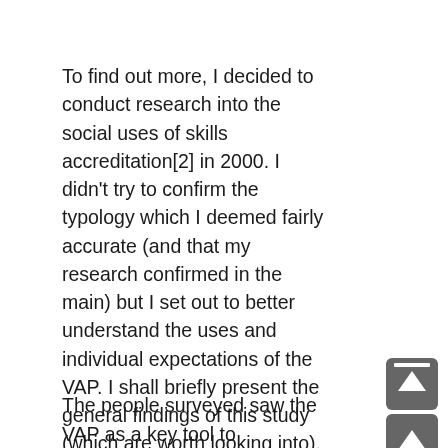To find out more, I decided to conduct research into the social uses of skills accreditation[2] in 2000. I didn't try to confirm the typology which I deemed fairly accurate (and that my research confirmed in the main) but I set out to better understand the uses and individual expectations of the VAP. I shall briefly present the general findings of this study (which are worth looking into). I chose three uses/effects of the VAP which I deemed the most significant. They concern people with the VAP (accreditation of prior employment) in secondary education, 1992 Law.
The people surveyed saw the VAP as a key tool to